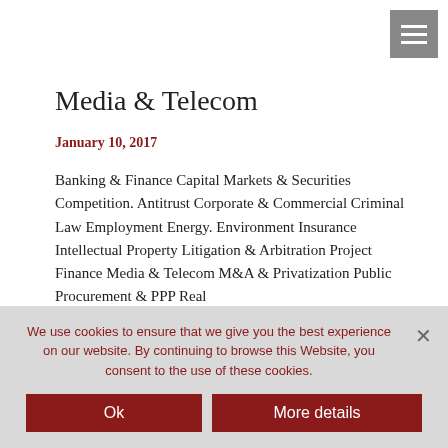[Figure (other): Hamburger menu icon button in top right corner, grey background with three white horizontal lines]
Media & Telecom
January 10, 2017
Banking & Finance Capital Markets & Securities Competition. Antitrust Corporate & Commercial Criminal Law Employment Energy. Environment Insurance Intellectual Property Litigation & Arbitration Project Finance Media & Telecom M&A & Privatization Public Procurement & PPP Real
We use cookies to ensure that we give you the best experience on our website. By continuing to browse this Website, you consent to the use of these cookies.